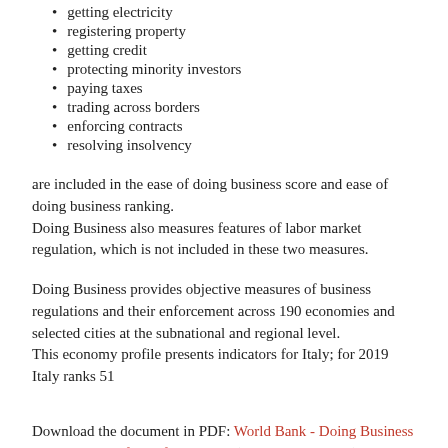getting electricity
registering property
getting credit
protecting minority investors
paying taxes
trading across borders
enforcing contracts
resolving insolvency
are included in the ease of doing business score and ease of doing business ranking.
Doing Business also measures features of labor market regulation, which is not included in these two measures.
Doing Business provides objective measures of business regulations and their enforcement across 190 economies and selected cities at the subnational and regional level.
This economy profile presents indicators for Italy; for 2019 Italy ranks 51
Download the document in PDF: World Bank - Doing Business 2019: Training for Reform - Italy (1,5 MB - 61 Pages)